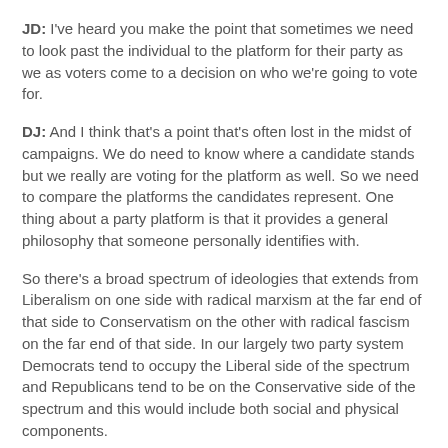JD: I've heard you make the point that sometimes we need to look past the individual to the platform for their party as we as voters come to a decision on who we're going to vote for.
DJ: And I think that's a point that's often lost in the midst of campaigns. We do need to know where a candidate stands but we really are voting for the platform as well. So we need to compare the platforms the candidates represent. One thing about a party platform is that it provides a general philosophy that someone personally identifies with.
So there's a broad spectrum of ideologies that extends from Liberalism on one side with radical marxism at the far end of that side to Conservatism on the other with radical fascism on the far end of that side. In our largely two party system Democrats tend to occupy the Liberal side of the spectrum and Republicans tend to be on the Conservative side of the spectrum and this would include both social and physical components.
JD: Thinking about the platforms of both the Democrats and